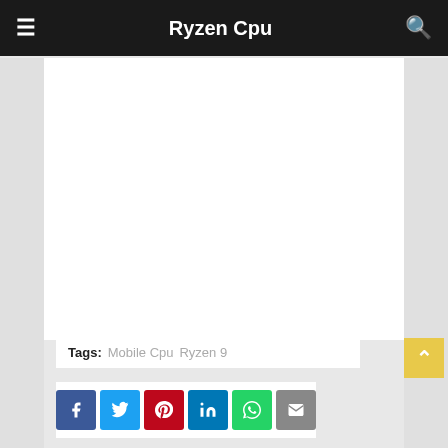Ryzen Cpu
[Figure (other): Empty white content/advertisement area]
Tags: Mobile Cpu  Ryzen 9
[Figure (infographic): Social share buttons: Facebook, Twitter, Pinterest, LinkedIn, WhatsApp, Email]